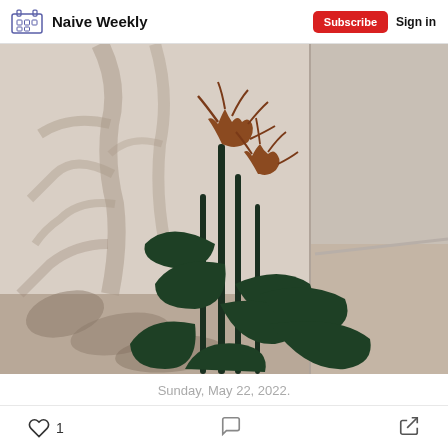Naive Weekly | Subscribe | Sign in
[Figure (photo): A plant with dark green leaves and dried rust-colored flower tips casting dramatic shadows on a light beige wall, photographed against a corner with a sandy floor.]
Sunday, May 22, 2022.
♡ 1  [comment icon]  [share icon]